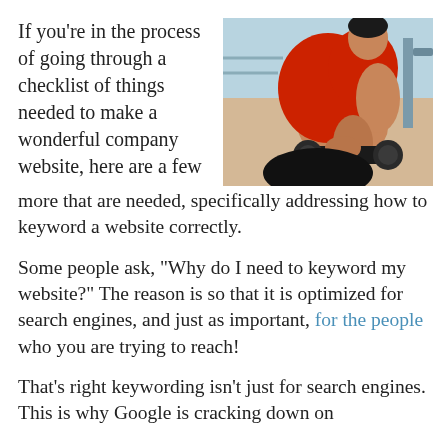If you're in the process of going through a checklist of things needed to make a wonderful company website, here are a few more that are needed, specifically addressing how to keyword a website correctly.
[Figure (photo): A muscular man in a red sleeveless shirt doing a dumbbell curl in a gym setting.]
Some people ask, "Why do I need to keyword my website?" The reason is so that it is optimized for search engines, and just as important, for the people who you are trying to reach!
That's right keywording isn't just for search engines. This is why Google is cracking down on